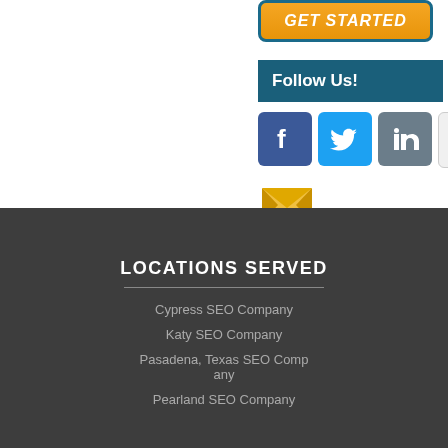[Figure (other): GET STARTED button with orange background and teal border]
Follow Us!
[Figure (other): Social media icons: Facebook, Twitter, LinkedIn, YouTube, and email]
LOCATIONS SERVED
Cypress SEO Company
Katy SEO Company
Pasadena, Texas SEO Company
Pearland SEO Company